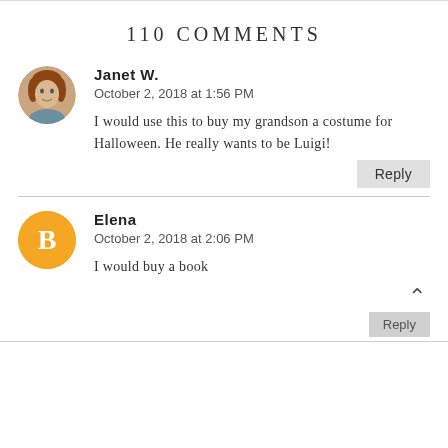110 COMMENTS
[Figure (photo): Avatar photo of Janet W., a woman with reddish-brown hair]
Janet W.
October 2, 2018 at 1:56 PM

I would use this to buy my grandson a costume for Halloween. He really wants to be Luigi!
[Figure (logo): Orange circular Blogger icon with white letter B]
Elena
October 2, 2018 at 2:06 PM

I would buy a book